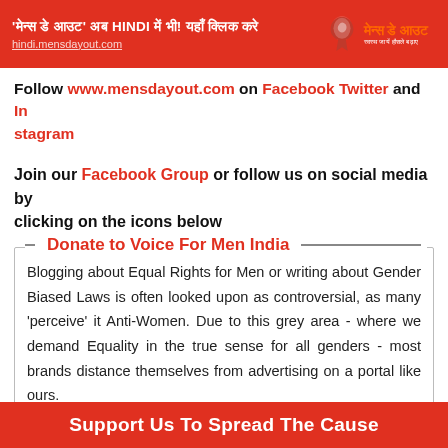'मेन्स डे आउट' अब HINDI में भी! यहाँ क्लिक करे | hindi.mensdayout.com | मेन्स डे आउट
Follow www.mensdayout.com on Facebook Twitter and Instagram
Join our Facebook Group or follow us on social media by clicking on the icons below
Donate to Voice For Men India
Blogging about Equal Rights for Men or writing about Gender Biased Laws is often looked upon as controversial, as many 'perceive' it Anti-Women. Due to this grey area - where we demand Equality in the true sense for all genders - most brands distance themselves from advertising on a portal like ours.
Support Us To Spread The Cause